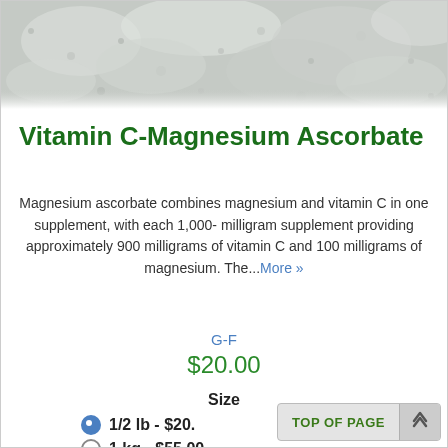[Figure (photo): Close-up photo of white/grey powder (Vitamin C-Magnesium Ascorbate supplement powder)]
Vitamin C-Magnesium Ascorbate
Magnesium ascorbate combines magnesium and vitamin C in one supplement, with each 1,000-milligram supplement providing approximately 900 milligrams of vitamin C and 100 milligrams of magnesium. The...More »
G-F
$20.00
Size
1/2 lb - $20.
1 kg - $55.00